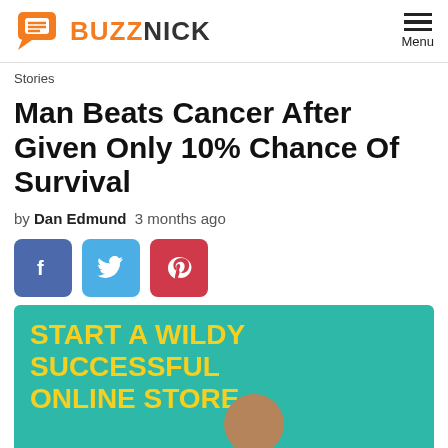BUZZ NICK — Menu
Stories
Man Beats Cancer After Given Only 10% Chance Of Survival
by Dan Edmund  3 months ago
[Figure (other): Social share buttons: Facebook (blue), Twitter (light blue), Pinterest (red)]
[Figure (infographic): Advertisement banner with teal background showing text 'START A WILDY SUCCESSFUL ONLINE STORE' in yellow bold text, a man's photo, and an 'INSTANT ACCESS' yellow button.]